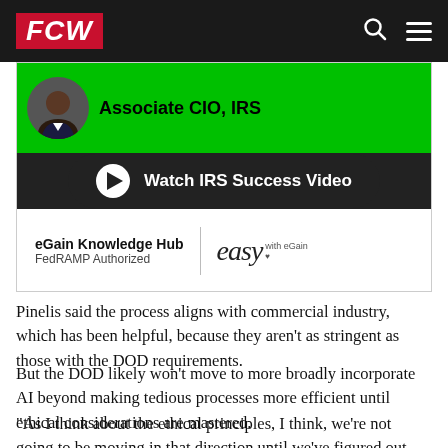FCW
[Figure (screenshot): Advertisement for eGain Knowledge Hub featuring Associate CIO IRS, a green banner with a person's photo, a black pill-shaped button 'Watch IRS Success Video' with a play button, and the eGain branding with 'easy with eGain' text and FedRAMP Authorized label.]
Pinelis said the process aligns with commercial industry, which has been helpful, because they aren't as stringent as those with the DOD requirements.
But the DOD likely won't move to more broadly incorporate AI beyond making tedious processes more efficient until ethical considerations are mastered.
"As I think about the ethical principles, I think, we're not going to be moving in that direction until we've figured out how we can quantify and test and ensure that we're able to adhere to the ethical